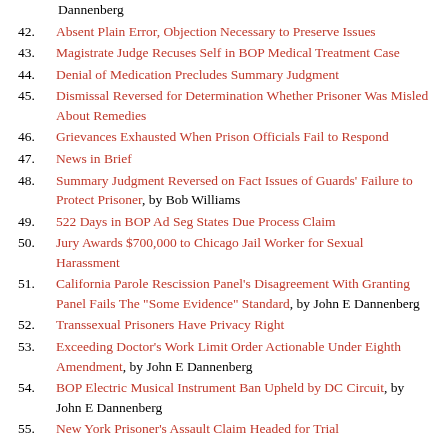41. [partial] ..., by John E Dannenberg
42. Absent Plain Error, Objection Necessary to Preserve Issues
43. Magistrate Judge Recuses Self in BOP Medical Treatment Case
44. Denial of Medication Precludes Summary Judgment
45. Dismissal Reversed for Determination Whether Prisoner Was Misled About Remedies
46. Grievances Exhausted When Prison Officials Fail to Respond
47. News in Brief
48. Summary Judgment Reversed on Fact Issues of Guards' Failure to Protect Prisoner, by Bob Williams
49. 522 Days in BOP Ad Seg States Due Process Claim
50. Jury Awards $700,000 to Chicago Jail Worker for Sexual Harassment
51. California Parole Rescission Panel's Disagreement With Granting Panel Fails The "Some Evidence" Standard, by John E Dannenberg
52. Transsexual Prisoners Have Privacy Right
53. Exceeding Doctor's Work Limit Order Actionable Under Eighth Amendment, by John E Dannenberg
54. BOP Electric Musical Instrument Ban Upheld by DC Circuit, by John E Dannenberg
55. New York Prisoner's Assault Claim Headed for Trial